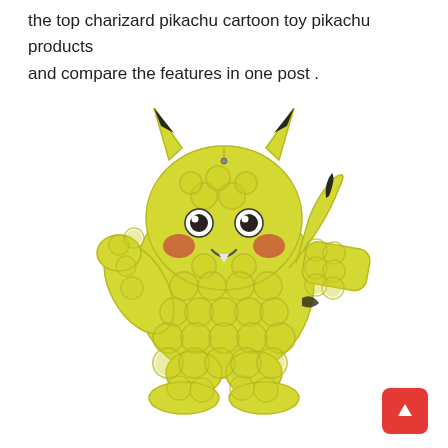the top charizard pikachu cartoon toy pikachu products and compare the features in one post .
[Figure (photo): A yellow Pikachu-shaped pop-it fidget toy with bubble domes covering the body. The toy shows Pikachu's face with eyes, red cheeks, and open mouth, with black-tipped ears and arms raised.]